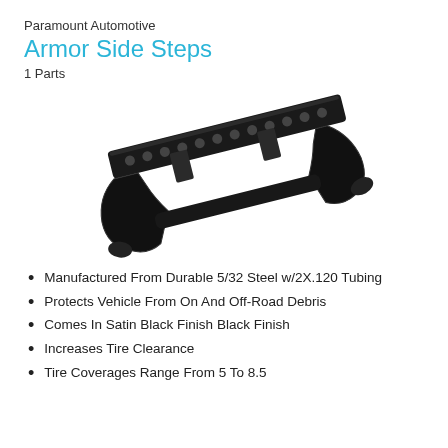Paramount Automotive
Armor Side Steps
1 Parts
[Figure (photo): Black armor side steps / running boards for a truck, shown at an angle against white background. The product is a pair of black steel side step bars with perforated flat step surface and curved tube ends.]
Manufactured From Durable 5/32 Steel w/2X.120 Tubing
Protects Vehicle From On And Off-Road Debris
Comes In Satin Black Finish Black Finish
Increases Tire Clearance
Tire Coverages Range From 5 To 8.5